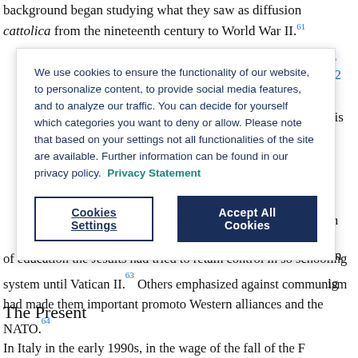background began studying what they saw as diffusion of cattolica from the nineteenth century to World War II.⁶¹
[Figure (screenshot): Cookie consent banner overlay with blue text, 'Cookies Settings' and 'Accept All Cookies' buttons]
of education the Jesuits had tried to retain control in so schooling system until Vatican II.⁶³ Others emphasized against communism had made them important promoto Western alliances and the NATO.⁶⁴
The Present
In Italy in the early 1990s, in the wage of the fall of the F